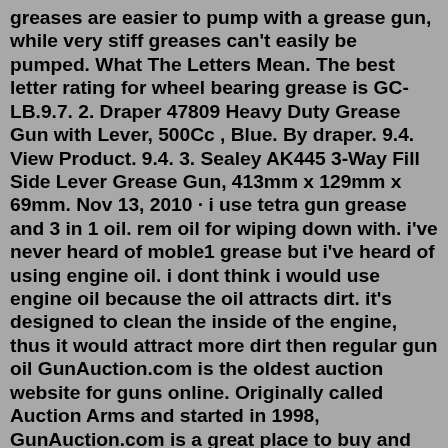greases are easier to pump with a grease gun, while very stiff greases can't easily be pumped. What The Letters Mean. The best letter rating for wheel bearing grease is GC-LB.9.7. 2. Draper 47809 Heavy Duty Grease Gun with Lever, 500Cc , Blue. By draper. 9.4. View Product. 9.4. 3. Sealey AK445 3-Way Fill Side Lever Grease Gun, 413mm x 129mm x 69mm. Nov 13, 2010 · i use tetra gun grease and 3 in 1 oil. rem oil for wiping down with. i've never heard of moble1 grease but i've heard of using engine oil. i dont think i would use engine oil because the oil attracts dirt. it's designed to clean the inside of the engine, thus it would attract more dirt then regular gun oil GunAuction.com is the oldest auction website for guns online. Originally called Auction Arms and started in 1998, GunAuction.com is a great place to buy and sell guns, research gun prices, and stay informed on all the latest cool gun stuff.. GunAuction.com also supports the NRA, and the NFAFA.We have a 3 Day Inspection Period for buyers, and the best customer support in the